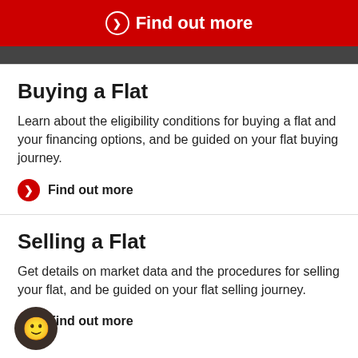Find out more
Buying a Flat
Learn about the eligibility conditions for buying a flat and your financing options, and be guided on your flat buying journey.
Find out more
Selling a Flat
Get details on market data and the procedures for selling your flat, and be guided on your flat selling journey.
Find out more